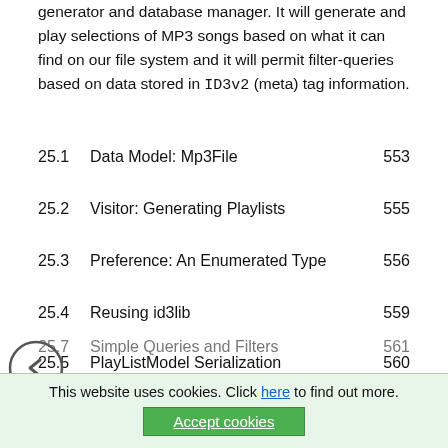generator and database manager. It will generate and play selections of MP3 songs based on what it can find on our file system and it will permit filter-queries based on data stored in ID3v2 (meta) tag information.
25.1   Data Model: Mp3File   553
25.2   Visitor: Generating Playlists   555
25.3   Preference: An Enumerated Type   556
25.4   Reusing id3lib   559
25.5   PlayListModel Serialization   560
25.6   Testing Mp3File Related Classes   561
25.7   Simple Queries and Filters   561
25.9   Models and Views: PlayList   565